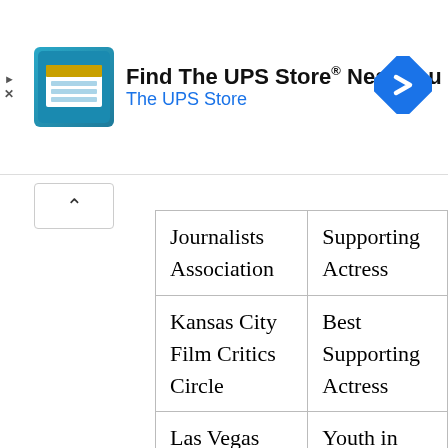[Figure (infographic): UPS Store advertisement banner with logo, title 'Find The UPS Store® Near You', subtitle 'The UPS Store', and a blue diamond navigation arrow icon on the right.]
| Journalists Association | Supporting Actress |
| Kansas City Film Critics Circle | Best Supporting Actress |
| Las Vegas Film Critics Society | Youth in Film |
| Online Film | Best |